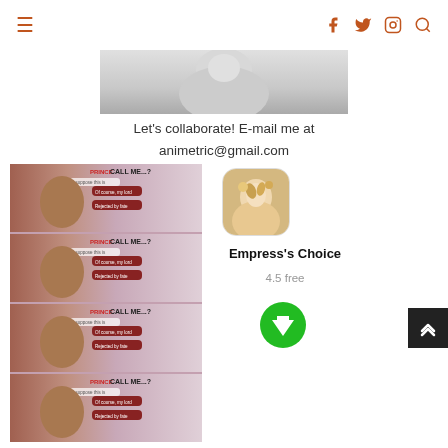Navigation header with hamburger menu and social icons (facebook, twitter, instagram, search)
[Figure (photo): Partial grayscale statue or illustration image, cropped close-up of face/shoulders]
Let's collaborate! E-mail me at animetric@gmail.com
[Figure (illustration): Four repeating comic strip panels showing 'PRINCE CALL ME...?' game/app screenshots with dialogue choices]
[Figure (illustration): App icon for Empress's Choice — anime-style female character with floral hair]
Empress's Choice
4.5 free
[Figure (other): Green circular download button with downward arrow]